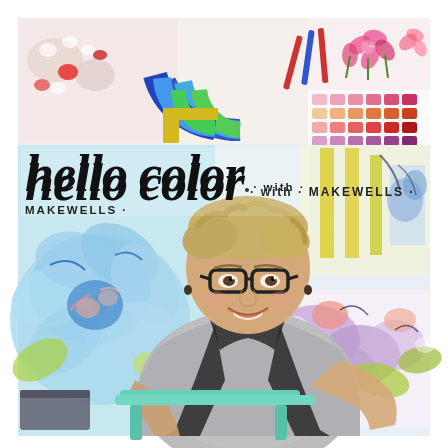[Figure (photo): Cover image for 'Hello Color with Makewells' online course or book. A smiling woman with short blonde hair and black-rimmed glasses sits at an art studio workspace, wearing a gray t-shirt and black apron. She leans on a mint/teal chair, surrounded by large colorful floral paintings in progress. The top portion shows collaged art supplies and color swatches. The title 'hello color with MAKEWELLS' is overlaid in bold script and sans-serif type.]
hello color · with · MAKEWELLS ·